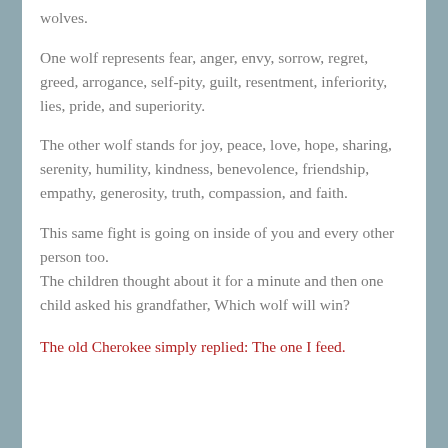wolves.
One wolf represents fear, anger, envy, sorrow, regret, greed, arrogance, self-pity, guilt, resentment, inferiority, lies, pride, and superiority.
The other wolf stands for joy, peace, love, hope, sharing, serenity, humility, kindness, benevolence, friendship, empathy, generosity, truth, compassion, and faith.
This same fight is going on inside of you and every other person too.
The children thought about it for a minute and then one child asked his grandfather, Which wolf will win?
The old Cherokee simply replied: The one I feed.